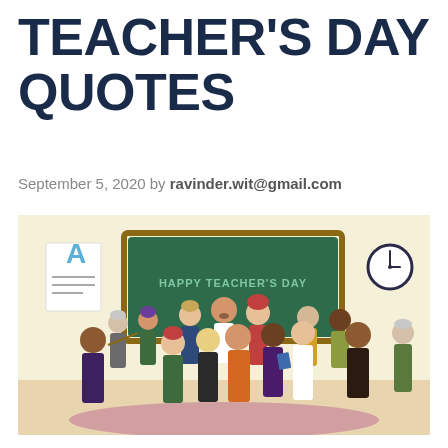TEACHER'S DAY QUOTES
September 5, 2020 by ravinder.wit@gmail.com
[Figure (illustration): Colorful cartoon illustration of a diverse group of teachers standing in a classroom in front of a green chalkboard that reads 'HAPPY TEACHER'S DAY'. Various teachers of different ages, ethnicities, and styles are grouped together. Classroom elements include a document with letter 'A' on the left wall, a clock on the right wall, and a pink/mauve oval rug on the floor.]